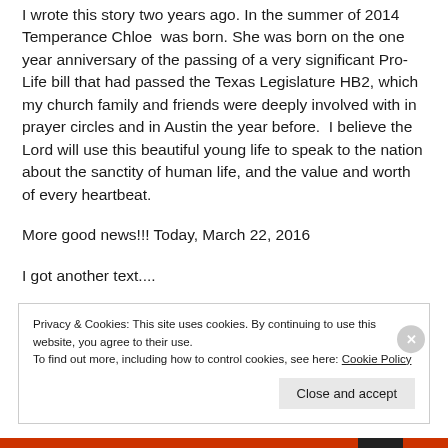I wrote this story two years ago. In the summer of 2014 Temperance Chloe  was born. She was born on the one year anniversary of the passing of a very significant Pro-Life bill that had passed the Texas Legislature HB2, which my church family and friends were deeply involved with in prayer circles and in Austin the year before.  I believe the Lord will use this beautiful young life to speak to the nation about the sanctity of human life, and the value and worth of every heartbeat.
More good news!!! Today, March 22, 2016
I got another text....
Privacy & Cookies: This site uses cookies. By continuing to use this website, you agree to their use.
To find out more, including how to control cookies, see here: Cookie Policy